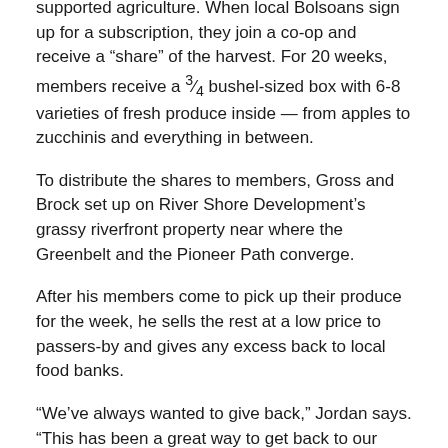supported agriculture. When local Bolsoans sign up for a subscription, they join a co-op and receive a “share” of the harvest. For 20 weeks, members receive a ¾ bushel-sized box with 6-8 varieties of fresh produce inside — from apples to zucchinis and everything in between.
To distribute the shares to members, Gross and Brock set up on River Shore Development’s grassy riverfront property near where the Greenbelt and the Pioneer Path converge.
After his members come to pick up their produce for the week, he sells the rest at a low price to passers-by and gives any excess back to local food banks.
“We’ve always wanted to give back,” Jordan says. “This has been a great way to get back to our roots.”
The Gross family and Brock started Little Buddy Farm back in 2017, after Jordan finished his football career in North Carolina. Jordan and Dana had both grown up on family farms in Fruitland, joined their high school’s Future Farmers